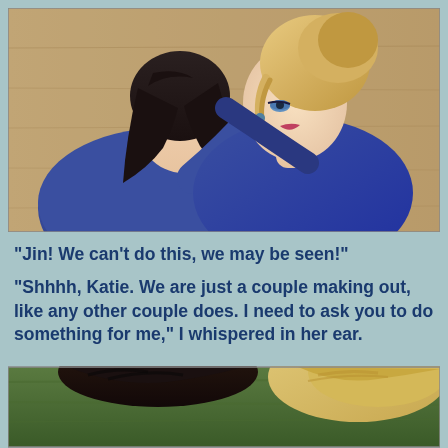[Figure (illustration): A 3D rendered image (Sims-style) of a dark-haired man in a blue hoodie embracing a blonde woman in a blue dress, in an intimate close-up pose. The background is a sandy/tan textured wall.]
“Jin!  We can’t do this, we may be seen!”
“Shhhh, Katie.  We are just a couple making out, like any other couple does.  I need to ask you to do something for me,” I whispered in her ear.
[Figure (illustration): A 3D rendered image (Sims-style) showing two characters from above: one with dark hair on green grass background and one with blonde hair, partially visible at the bottom of the page.]